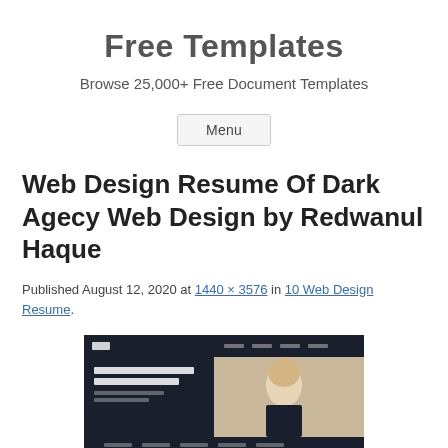Free Templates
Browse 25,000+ Free Document Templates
Menu
Web Design Resume Of Dark Agecy Web Design by Redwanul Haque
Published August 12, 2020 at 1440 × 3576 in 10 Web Design Resume.
[Figure (screenshot): Screenshot of a dark agency web design resume template showing a navbar, text content, and a blonde woman in a dark sweater against a tan background.]